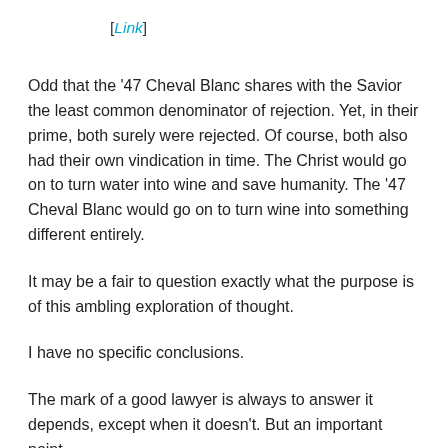[Link]
Odd that the '47 Cheval Blanc shares with the Savior the least common denominator of rejection. Yet, in their prime, both surely were rejected. Of course, both also had their own vindication in time. The Christ would go on to turn water into wine and save humanity. The '47 Cheval Blanc would go on to turn wine into something different entirely.
It may be a fair to question exactly what the purpose is of this ambling exploration of thought.
I have no specific conclusions.
The mark of a good lawyer is always to answer it depends, except when it doesn't. But an important point